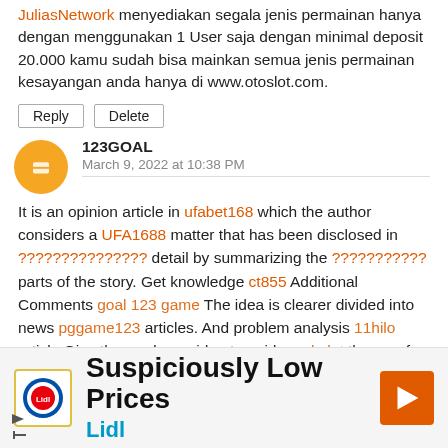JuliasNetwork menyediakan segala jenis permainan hanya dengan menggunakan 1 User saja dengan minimal deposit 20.000 kamu sudah bisa mainkan semua jenis permainan kesayangan anda hanya di www.otoslot.com.
Reply | Delete
123GOAL
March 9, 2022 at 10:38 PM
It is an opinion article in ufabet168 which the author considers a UFA1688 matter that has been disclosed in ??????????????? detail by summarizing the ??????????? parts of the story. Get knowledge ct855 Additional Comments goal 123 game The idea is clearer divided into news pggame123 articles. And problem analysis 11hilo article Give the reader an idea to guide ambslot the way for a successful life.
Reply | Delete | CLOSE
[Figure (illustration): Lidl advertisement banner: Lidl logo on left, text 'Suspiciously Low Prices' and 'Lidl' on center, orange arrow icon on right]